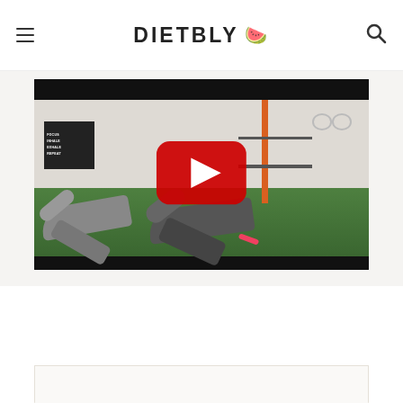DIETBLY 🍉
[Figure (screenshot): YouTube video embedded in a webpage showing two women doing crunches/sit-ups on green turf in a gym with a motivational sign reading FOCUS INHALE EXHALE REPEAT on the wall. A large red YouTube play button is overlaid in the center.]
[Figure (other): Bottom portion of a white card/section visible at the bottom of the page]